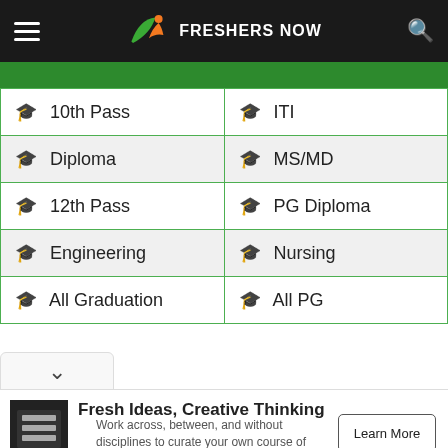FRESHERS NOW
| 10th Pass | ITI |
| Diploma | MS/MD |
| 12th Pass | PG Diploma |
| Engineering | Nursing |
| All Graduation | All PG |
[Figure (other): Dropdown chevron button]
Fresh Ideas, Creative Thinking
Work across, between, and without disciplines to curate your own course of study. Hampshire College
Learn More